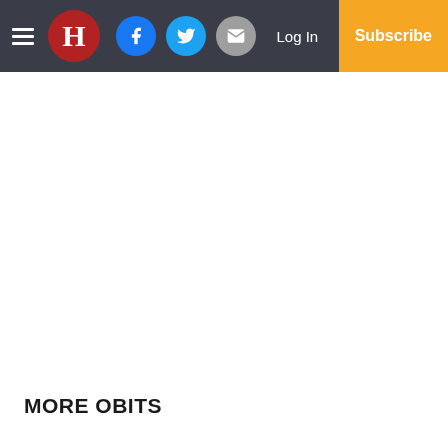H | Log In | Subscribe
MORE OBITS